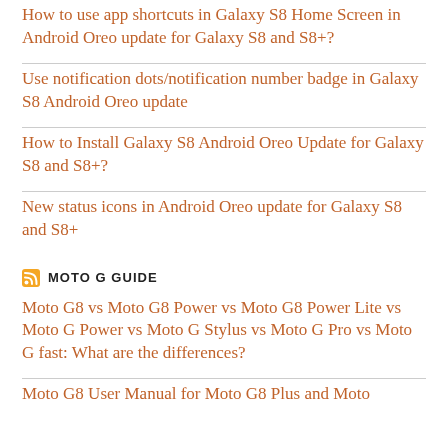How to use app shortcuts in Galaxy S8 Home Screen in Android Oreo update for Galaxy S8 and S8+?
Use notification dots/notification number badge in Galaxy S8 Android Oreo update
How to Install Galaxy S8 Android Oreo Update for Galaxy S8 and S8+?
New status icons in Android Oreo update for Galaxy S8 and S8+
MOTO G GUIDE
Moto G8 vs Moto G8 Power vs Moto G8 Power Lite vs Moto G Power vs Moto G Stylus vs Moto G Pro vs Moto G fast: What are the differences?
Moto G8 User Manual for Moto G8 Plus and Moto